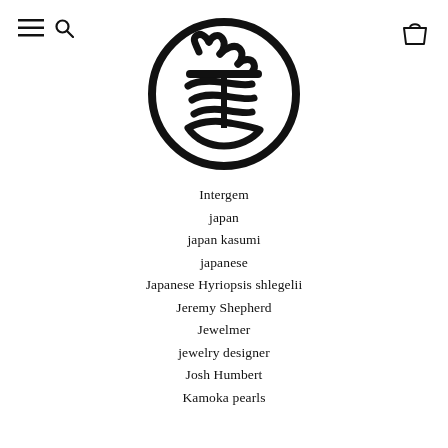[Figure (logo): Circular Japanese seal/stamp logo with kanji characters inside, black on white]
Intergem
japan
japan kasumi
japanese
Japanese Hyriopsis shlegelii
Jeremy Shepherd
Jewelmer
jewelry designer
Josh Humbert
Kamoka pearls